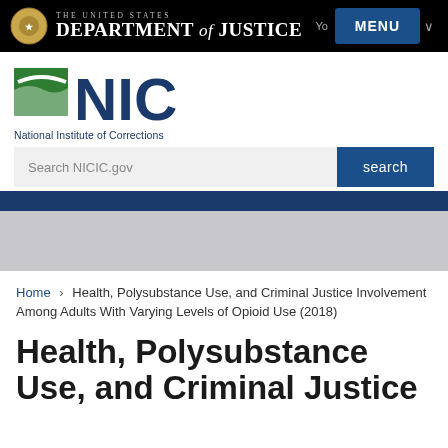THE UNITED STATES DEPARTMENT of JUSTICE — National Institute of Corrections
[Figure (logo): NIC logo with green and navy graphic and text 'National Institute of Corrections']
Search NICIC.gov
Home › Health, Polysubstance Use, and Criminal Justice Involvement Among Adults With Varying Levels of Opioid Use (2018)
Health, Polysubstance Use, and Criminal Justice